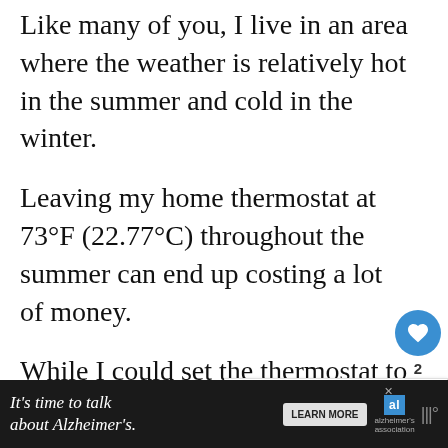Like many of you, I live in an area where the weather is relatively hot in the summer and cold in the winter.
Leaving my home thermostat at 73°F (22.77°C) throughout the summer can end up costing a lot of money.
While I could set the thermostat to different temperatures at various hours the day, such a process is cumb... and not consistently effective.
[Figure (screenshot): Web UI overlay with heart/like button showing count of 2, and a share button on the right side of the page]
[Figure (screenshot): WHAT'S NEXT panel showing thumbnail image and text 'Can Smart Thermostats...']
[Figure (screenshot): Dark advertisement bar at bottom: "It's time to talk about Alzheimer's." with LEARN MORE button and Alzheimer's Association logo]